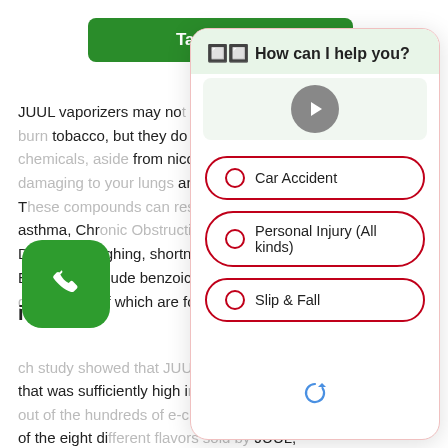JUUL vaporizers may not leave tar as they don't burn tobacco, but they do contain several chemicals, aside from nicotine, that can be very damaging to your lungs and respiratory system. These compounds can result in diseases like asthma, Chronic Obstructive Pulmonary Disease, coughing, shortness of breath, fatigue. Examples include benzoic acid and propylene glycol, both of which are found in JUUL
icity
ch study showed that JUUL was the only brand that was sufficiently high in cytotoxicity hazard out of the hundreds of e-cigarettes tested. Out of the eight different flavors sold by JUUL, studies found different toxicity levels.
[Figure (screenshot): Chat widget overlay with header 'How can I help you?', a video play button, and three choice buttons: Car Accident, Personal Injury (All kinds), Slip & Fall]
[Figure (other): Green tap-to-call button bar at the top]
[Figure (other): Green phone icon button at bottom left]